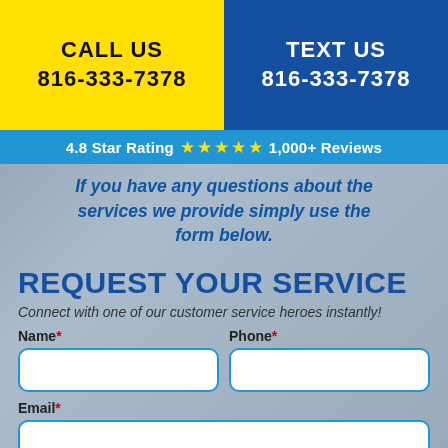CALL US
816-333-7378
TEXT US
816-333-7378
4.8 Star Rating ★★★★★ 1,000+ Reviews
If you have any questions about the services we provide simply use the form below.
REQUEST YOUR SERVICE
Connect with one of our customer service heroes instantly!
Name* | Phone*
Email*